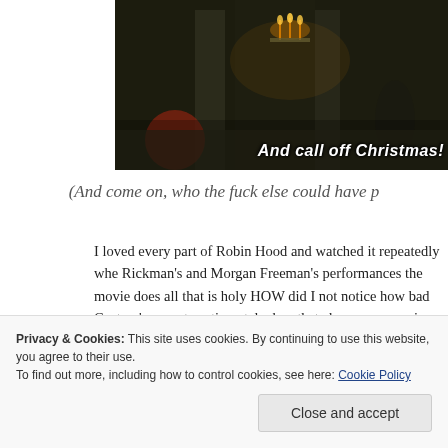[Figure (screenshot): Movie screenshot from Robin Hood: Prince of Thieves showing a dark castle interior scene with candles and figures. Subtitle text reads 'And call off Christmas!']
(And come on, who the fuck else could have p
I loved every part of Robin Hood and watched it repeatedly whe Rickman's and Morgan Freeman's performances the movie does all that is holy HOW did I not notice how bad Costner's accent sentimental when that cheesy-ass movie fades into the Bryan Ad
Privacy & Cookies: This site uses cookies. By continuing to use this website, you agree to their use.
To find out more, including how to control cookies, see here: Cookie Policy
Close and accept